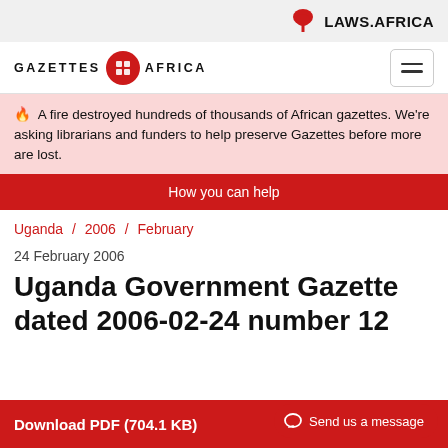LAWS.AFRICA
[Figure (logo): Gazettes Africa logo with red circle icon]
🔥 A fire destroyed hundreds of thousands of African gazettes. We're asking librarians and funders to help preserve Gazettes before more are lost.
How you can help
Uganda / 2006 / February
24 February 2006
Uganda Government Gazette dated 2006-02-24 number 12
Download PDF (704.1 KB)
Send us a message